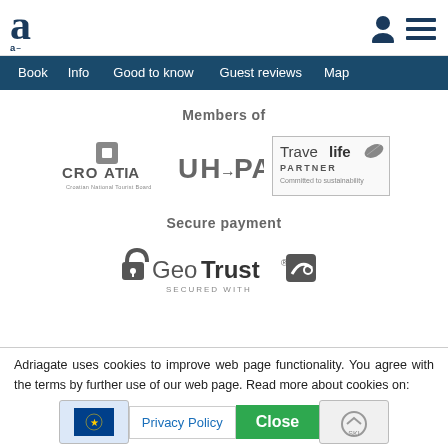Adriagate logo with navigation: Book, Info, Good to know, Guest reviews, Map
Members of
[Figure (logo): Croatia National Tourist Board logo]
[Figure (logo): UHPA logo]
[Figure (logo): Travelife Partner - Committed to sustainability logo]
Secure payment
[Figure (logo): GeoTrust Secured With logo]
Adriagate uses cookies to improve web page functionality. You agree with the terms by further use of our web page. Read more about cookies on: